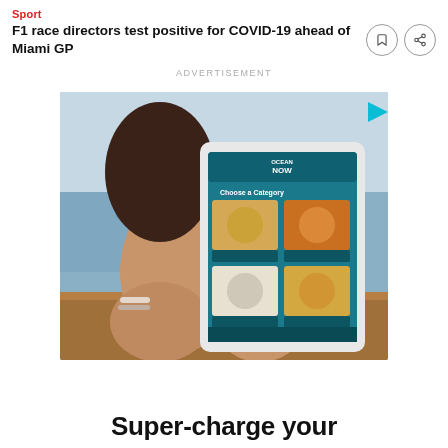Sport
F1 race directors test positive for COVID-19 ahead of Miami GP
ADVERTISEMENT
[Figure (photo): Woman holding a tablet showing the Ocean Now app with a 'Choose a Category' screen featuring food and drinks options, sitting outdoors near a pool]
Super-charge your